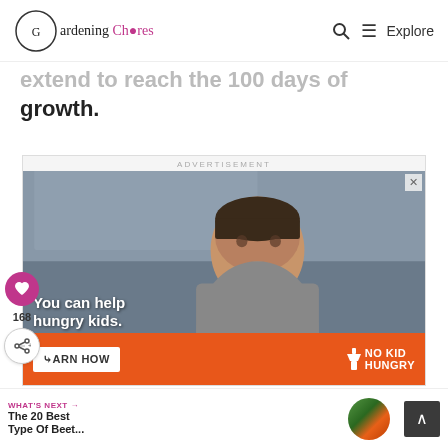Gardening Chores — Explore
extend to reach the 100 days of growth.
[Figure (photo): Advertisement banner featuring a child eating, with text 'You can help hungry kids.' and No Kid Hungry branding on an orange bar with 'LEARN HOW' button.]
168
WHAT'S NEXT → The 20 Best Type Of Beet...